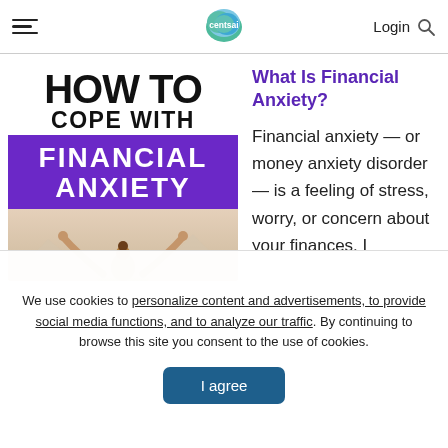centsai — Login
[Figure (infographic): How to Cope with Financial Anxiety article header image with bold text on white and purple background, and a person with arms raised]
What Is Financial Anxiety?
Financial anxiety — or money anxiety disorder — is a feeling of stress, worry, or concern about your finances. I
We use cookies to personalize content and advertisements, to provide social media functions, and to analyze our traffic. By continuing to browse this site you consent to the use of cookies.
I agree